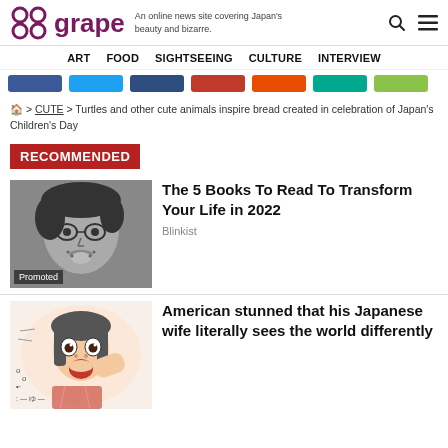grape — An online news site covering Japan's beauty and bizarre.
ART  FOOD  SIGHTSEEING  CULTURE  INTERVIEW
[Figure (screenshot): Row of social media share buttons in various colors (blue, light blue, dark blue, red, orange, teal, green)]
🏠 > CUTE > Turtles and other cute animals inspire bread created in celebration of Japan's Children's Day
RECOMMENDED
[Figure (photo): Black and white photo of a young man with round glasses and facial hair, labeled Promoted]
The 5 Books To Read To Transform Your Life in 2022
Blinkist
[Figure (illustration): Colorful illustration of a woman with surprised expression, Japanese manga style]
American stunned that his Japanese wife literally sees the world differently